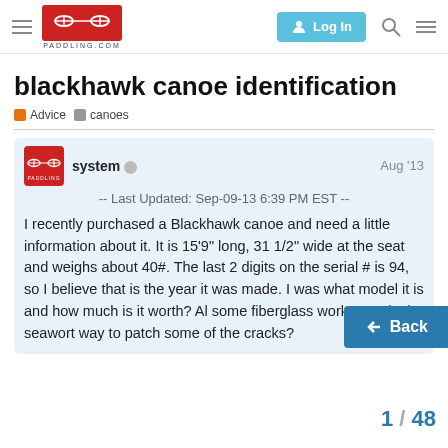PADDLING.COM — Log In
blackhawk canoe identification
Advice  canoes
system  Aug '13
-- Last Updated: Sep-09-13 6:39 PM EST --
I recently purchased a Blackhawk canoe and need a little information about it. It is 15'9" long, 31 1/2" wide at the seat and weighs about 40#. The last 2 digits on the serial # is 94, so I believe that is the year it was made. I was what model it is and how much is it worth? Al some fiberglass work to make it seawort way to patch some of the cracks?